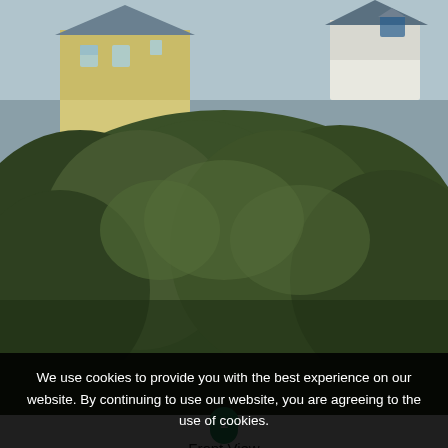[Figure (photo): Main property photo showing a house with yellow facade partially visible behind large dense green shrubs and trees in the foreground. Sky and other buildings visible in background.]
1
Front View
[Figure (photo): Thumbnail 1: Low white/cream house with white roof partially hidden behind green shrubs, cloudy sky]
[Figure (photo): Thumbnail 2: Same low white house from slightly different angle, green vegetation foreground]
[Figure (photo): Thumbnail 3: Same property from another angle, vegetation foreground, bright sky]
Save
Notify
Share
We use cookies to provide you with the best experience on our website. By continuing to use our website, you are agreeing to the use of cookies.